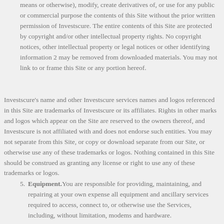means or otherwise), modify, create derivatives of, or use for any public or commercial purpose the contents of this Site without the prior written permission of Investscure. The entire contents of this Site are protected by copyright and/or other intellectual property rights. No copyright notices, other intellectual property or legal notices or other identifying information 2 may be removed from downloaded materials. You may not link to or frame this Site or any portion hereof.
Investscure's name and other Investscure services names and logos referenced in this Site are trademarks of Investscure or its affiliates. Rights in other marks and logos which appear on the Site are reserved to the owners thereof, and Investscure is not affiliated with and does not endorse such entities. You may not separate from this Site, or copy or download separate from our Site, or otherwise use any of these trademarks or logos. Nothing contained in this Site should be construed as granting any license or right to use any of these trademarks or logos.
Equipment. You are responsible for providing, maintaining, and repairing at your own expense all equipment and ancillary services required to access, connect to, or otherwise use the Services, including, without limitation, modems and hardware.